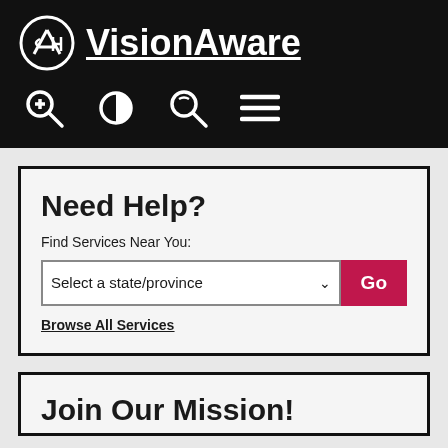APH VisionAware
[Figure (screenshot): Navigation icon bar with zoom in, contrast, search, and hamburger menu icons on black background]
Need Help?
Find Services Near You:
Select a state/province   Go
Browse All Services
Join Our Mission!